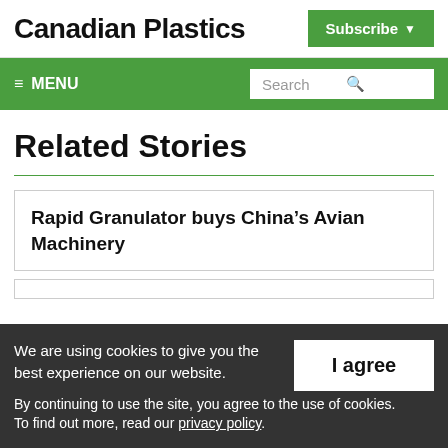Canadian Plastics
Subscribe
≡ MENU | Search
Related Stories
Rapid Granulator buys China's Avian Machinery
We are using cookies to give you the best experience on our website.
By continuing to use the site, you agree to the use of cookies.
To find out more, read our privacy policy.